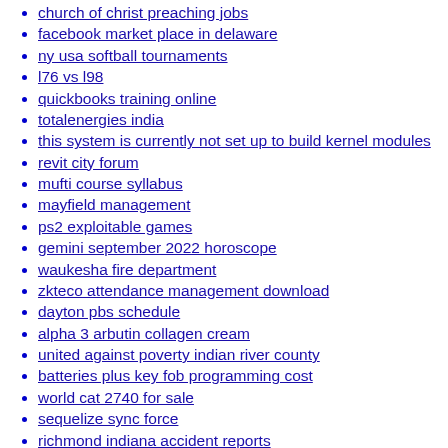church of christ preaching jobs
facebook market place in delaware
ny usa softball tournaments
l76 vs l98
quickbooks training online
totalenergies india
this system is currently not set up to build kernel modules
revit city forum
mufti course syllabus
mayfield management
ps2 exploitable games
gemini september 2022 horoscope
waukesha fire department
zkteco attendance management download
dayton pbs schedule
alpha 3 arbutin collagen cream
united against poverty indian river county
batteries plus key fob programming cost
world cat 2740 for sale
sequelize sync force
richmond indiana accident reports
vw crafter camper conversions
the flood expo california
los angeles sparks prediction
680 north traffic